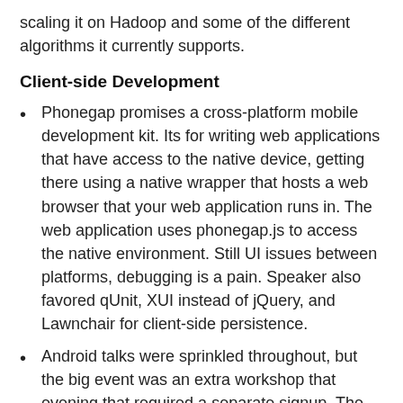scaling it on Hadoop and some of the different algorithms it currently supports.
Client-side Development
Phonegap promises a cross-platform mobile development kit. Its for writing web applications that have access to the native device, getting there using a native wrapper that hosts a web browser that your web application runs in. The web application uses phonegap.js to access the native environment. Still UI issues between platforms, debugging is a pain. Speaker also favored qUnit, XUI instead of jQuery, and Lawnchair for client-side persistence.
Android talks were sprinkled throughout, but the big event was an extra workshop that evening that required a separate signup. The 300+ developers that attended were rewarded with in-depth tutorials on Android UI design,